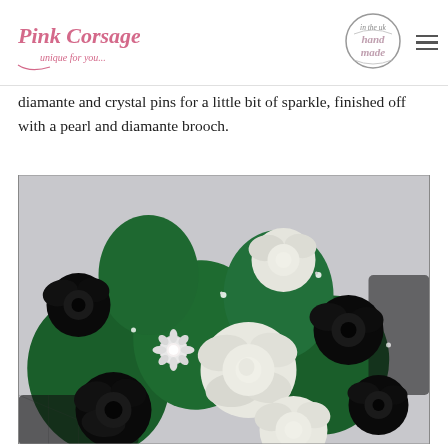[Figure (logo): Pink Corsage logo - cursive pink text reading 'Pink Corsage' with tagline 'unique for you...']
[Figure (logo): Circular badge logo reading 'in the UK hand made']
diamante and crystal pins for a little bit of sparkle, finished off with a pearl and diamante brooch.
[Figure (photo): Close-up photograph of a handmade bouquet featuring black, dark green, and white satin fabric roses with black lace/netting and small crystal/diamante pins and a pearl brooch.]